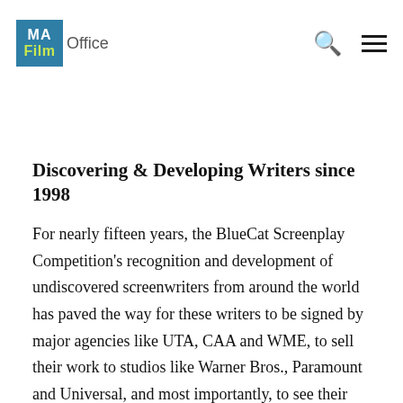MA Film Office
Discovering & Developing Writers since 1998
For nearly fifteen years, the BlueCat Screenplay Competition's recognition and development of undiscovered screenwriters from around the world has paved the way for these writers to be signed by major agencies like UTA, CAA and WME, to sell their work to studios like Warner Bros., Paramount and Universal, and most importantly, to see their work produced into motion pictures.